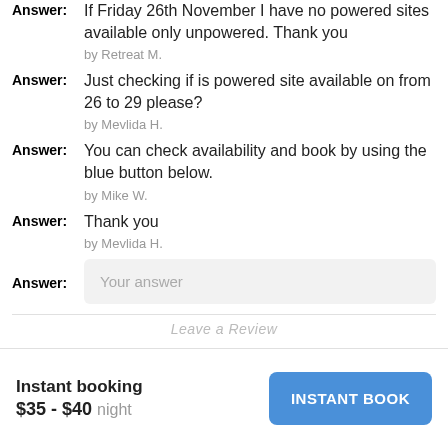Answer: If Friday 26th November I have no powered sites available only unpowered. Thank you
by Retreat M.
Answer: Just checking if is powered site available on from 26 to 29 please?
by Mevlida H.
Answer: You can check availability and book by using the blue button below.
by Mike W.
Answer: Thank you
by Mevlida H.
Answer: Your answer
Instant booking
$35 - $40 night
INSTANT BOOK